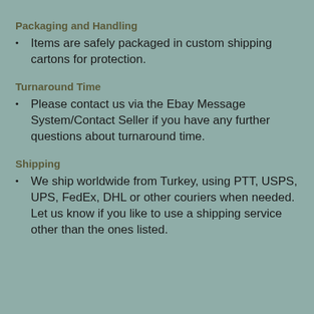Packaging and Handling
Items are safely packaged in custom shipping cartons for protection.
Turnaround Time
Please contact us via the Ebay Message System/Contact Seller if you have any further questions about turnaround time.
Shipping
We ship worldwide from Turkey, using PTT, USPS, UPS, FedEx, DHL or other couriers when needed. Let us know if you like to use a shipping service other than the ones listed.